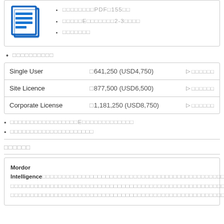[Figure (illustration): Blue document/report icon with horizontal lines representing text on pages]
□□□□□PDF□155□□
□□□□□E□□□□□□□2-3□□□□
□□□□□□□
□□□□□□□□□□
|  |  |  |
| --- | --- | --- |
| Single User | □641,250 (USD4,750) | ▷ □□□□□□ |
| Site Licence | □877,500 (USD6,500) | ▷ □□□□□□ |
| Corporate License | □1,181,250 (USD8,750) | ▷ □□□□□□ |
□□□□□□□□□□□□□□□□□E□□□□□□□□□□□□□
□□□□□□□□□□□□□□□□□□□□□
□□□□□□
Mordor Intelligence□□□□□□□□□□□□□□□□□□□□□□□□□□□□□□□□□□□□□□□□□□□□□□□□□□□□□□□□□□□□□□□□□□□□□□□□□□□□□□□□□□□□□□□□□□□□□□□□□□□□□□□□□□□□□□□□□□□□□□□□□□□□□□□□□□□□□□□□□□□□□□□□□□□□□□□□□